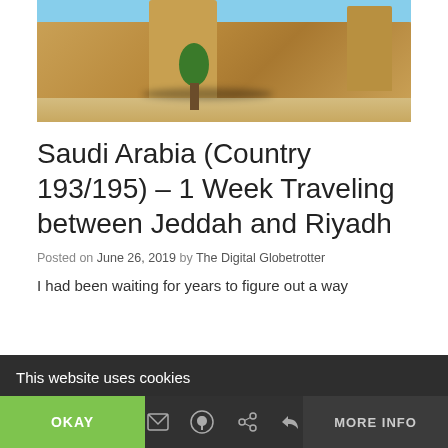[Figure (photo): Wide-angle photo of a historic mud-brick fort or palace building in Saudi Arabia, with a tree in the foreground and sandy ground. Background shows clear blue sky.]
Saudi Arabia (Country 193/195) – 1 Week Traveling between Jeddah and Riyadh
Posted on June 26, 2019 by The Digital Globetrotter
I had been waiting for years to figure out a way
This website uses cookies
OKAY
MORE INFO